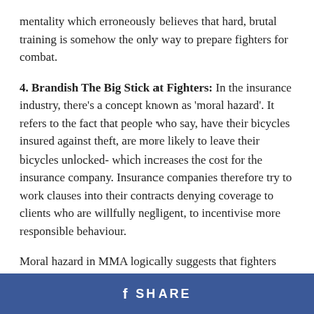mentality which erroneously believes that hard, brutal training is somehow the only way to prepare fighters for combat.
4. Brandish The Big Stick at Fighters: In the insurance industry, there's a concept known as 'moral hazard'. It refers to the fact that people who say, have their bicycles insured against theft, are more likely to leave their bicycles unlocked- which increases the cost for the insurance company. Insurance companies therefore try to work clauses into their contracts denying coverage to clients who are willfully negligent, to incentivise more responsible behaviour.
Moral hazard in MMA logically suggests that fighters who know the UFC will cover their medical costs are marginally less careful in training. If the UFC threatens to withhold coverage for fighters whose injuries are found to be the result
f SHARE